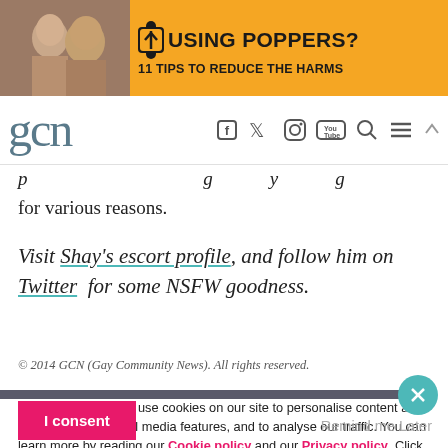[Figure (screenshot): Banner advertisement for 'Using Poppers? 11 Tips to Reduce the Harms' on orange background with photo of men on left]
gcn [navigation with social media icons]
for various reasons.
Visit Shay's escort profile, and follow him on Twitter for some NSFW goodness.
© 2014 GCN (Gay Community News). All rights reserved.
We and our partners use cookies on our site to personalise content and ads, to provide social media features, and to analyse our traffic. You can learn more by reading our Cookie policy and our Privacy policy. Click below to consent to the use of this technology across the web.